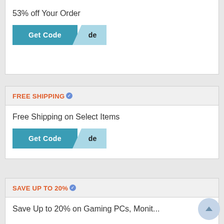53% off Your Order
[Figure (screenshot): Get Code button with teal background and folded corner effect]
FREE SHIPPING
Free Shipping on Select Items
[Figure (screenshot): Get Code button with teal background and folded corner effect]
SAVE UP TO 20%
Save Up to 20% on Gaming PCs, Monit...